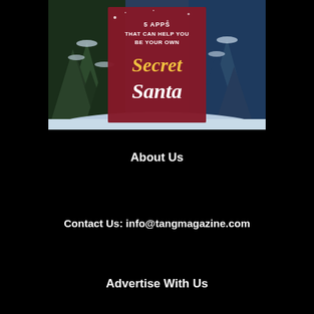[Figure (illustration): Christmas themed magazine cover image showing snow-covered pine trees with a dark red/maroon semi-transparent overlay box in the center. Text on the overlay reads '5 APPS THAT CAN HELP YOU BE YOUR OWN Secret Santa' in gold and white fonts.]
About Us
Contact Us: info@tangmagazine.com
Advertise With Us